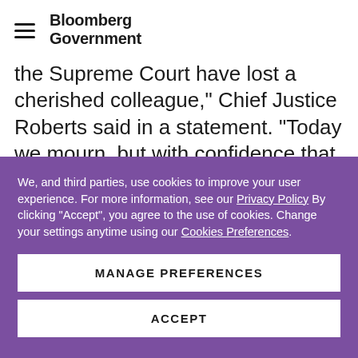Bloomberg Government
the Supreme Court have lost a cherished colleague," Chief Justice Roberts said in a statement. "Today we mourn, but with confidence that future generations will remember Ruth Bader Ginsburg as we knew her—a
We, and third parties, use cookies to improve your user experience. For more information, see our Privacy Policy By clicking "Accept", you agree to the use of cookies. Change your settings anytime using our Cookies Preferences.
MANAGE PREFERENCES
ACCEPT